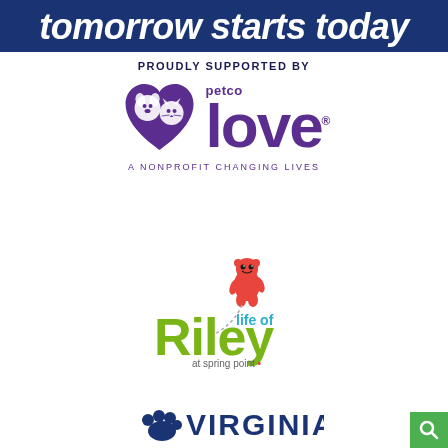tomorrow starts today
PROUDLY SUPPORTED BY
[Figure (logo): Petco Love logo — purple heart with dog and cat faces, 'petco' text above 'love' in large purple letters, 'A NONPROFIT CHANGING LIVES' below]
[Figure (logo): Life of Riley at Spring Point logo — red gummy-bear mascot with dotted arc, 'life of Riley' in green/teal letters, 'at spring point.' below]
[Figure (logo): Virginia logo with paw print icon and 'VIRGINIA' text in dark navy blue]
[Figure (other): Green search/magnifying glass icon box in bottom right corner]